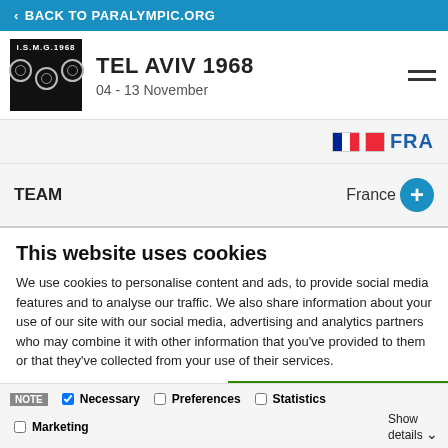< BACK TO PARALYMPIC.ORG
TEL AVIV 1968
04 - 13 November
FRA
TEAM  France
This website uses cookies
We use cookies to personalise content and ads, to provide social media features and to analyse our traffic. We also share information about your use of our site with our social media, advertising and analytics partners who may combine it with other information that you've provided to them or that they've collected from your use of their services.
Allow all cookies
Allow selection
Use necessary cookies only
NOTE  Necessary  Preferences  Statistics  Marketing  Show details